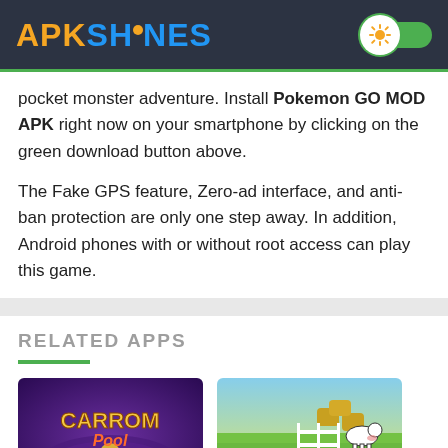APKSHINES
pocket monster adventure. Install Pokemon GO MOD APK right now on your smartphone by clicking on the green download button above.
The Fake GPS feature, Zero-ad interface, and anti-ban protection are only one step away. In addition, Android phones with or without root access can play this game.
RELATED APPS
[Figure (photo): Carrom Pool game thumbnail - purple background with carrom board and pieces]
[Figure (photo): Farm game thumbnail - green fields with cows and haystacks]